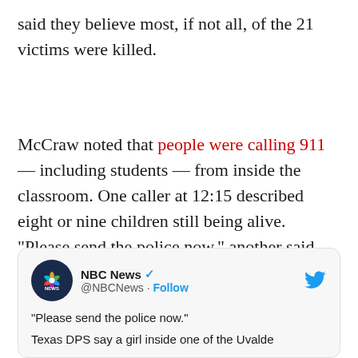said they believe most, if not all, of the 21 victims were killed.
McCraw noted that people were calling 911 — including students — from inside the classroom. One caller at 12:15 described eight or nine children still being alive. "Please send the police now," another said.
[Figure (screenshot): Embedded tweet from NBC News (@NBCNews) with verified checkmark and Follow button. Tweet text: '"Please send the police now."' followed by 'Texas DPS say a girl inside one of the Uvalde']